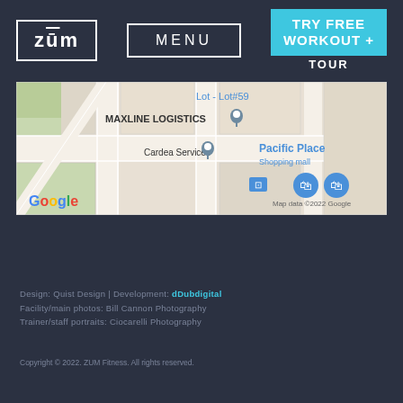[Figure (logo): ZUM fitness logo in white text inside a white bordered rectangle]
MENU
TRY FREE WORKOUT + TOUR
[Figure (map): Google Maps screenshot showing Lot - Lot#59, MAXLINE LOGISTICS, Cardea Services, Pacific Place Shopping mall. Map data ©2022 Google]
Design: Quist Design | Development: dDubdigital
Facility/main photos: Bill Cannon Photography
Trainer/staff portraits: Ciocarelli Photography
Copyright © 2022. ZUM Fitness. All rights reserved.